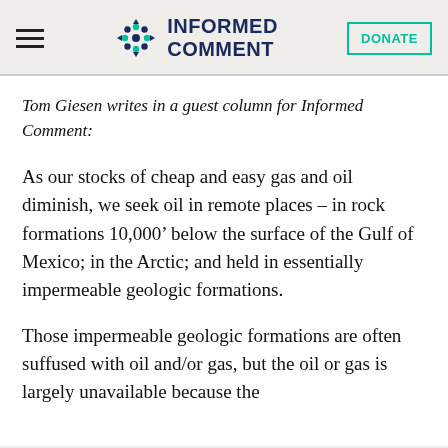Informed Comment
Tom Giesen writes in a guest column for Informed Comment:
As our stocks of cheap and easy gas and oil diminish, we seek oil in remote places – in rock formations 10,000’ below the surface of the Gulf of Mexico; in the Arctic; and held in essentially impermeable geologic formations.
Those impermeable geologic formations are often suffused with oil and/or gas, but the oil or gas is largely unavailable because the